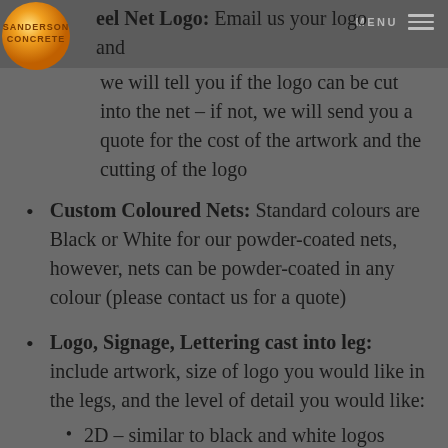Sanderson Concrete – Menu
Steel Net Logo: Email us your logo and we will tell you if the logo can be cut into the net – if not, we will send you a quote for the cost of the artwork and the cutting of the logo
Custom Coloured Nets: Standard colours are Black or White for our powder-coated nets, however, nets can be powder-coated in any colour (please contact us for a quote)
Logo, Signage, Lettering cast into leg: include artwork, size of logo you would like in the legs, and the level of detail you would like:
2D – similar to black and white logos